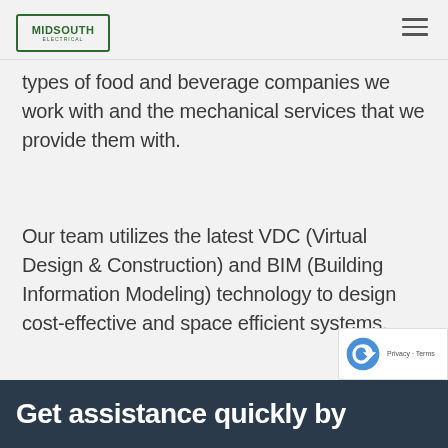MIDSOUTH [logo]
types of food and beverage companies we work with and the mechanical services that we provide them with.
Our team utilizes the latest VDC (Virtual Design & Construction) and BIM (Building Information Modeling) technology to design cost-effective and space efficient systems.
CONTACT A PROJECT MANAGER →
Get assistance quickly by